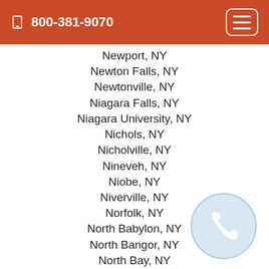800-381-9070
Newport, NY
Newton Falls, NY
Newtonville, NY
Niagara Falls, NY
Niagara University, NY
Nichols, NY
Nicholville, NY
Nineveh, NY
Niobe, NY
Niverville, NY
Norfolk, NY
North Babylon, NY
North Bangor, NY
North Bay, NY
North Blenheim, NY
North Boston, NY
North Branch, NY
North Brookfield, NY
[Figure (illustration): Light blue circle with a white telephone handset icon inside]